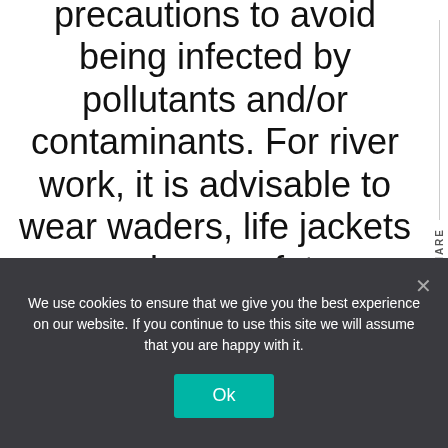precautions to avoid being infected by pollutants and/or contaminants. For river work, it is advisable to wear waders, life jackets and use safety harnesses and ropes while working in water. Gumboots on the river banks are very useful, and protective gloves are vital because of contamination
We use cookies to ensure that we give you the best experience on our website. If you continue to use this site we will assume that you are happy with it.